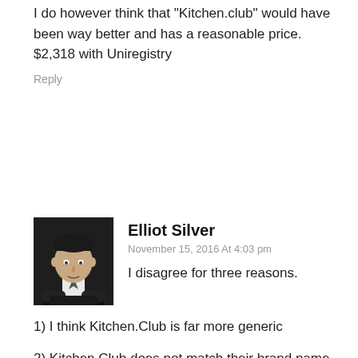I do however think that "Kitchen.club" would have been way better and has a reasonable price. $2,318 with Uniregistry
Reply
[Figure (photo): Profile photo of Elliot Silver, man in dark suit with arms crossed]
Elliot Silver
November 15, 2016 At 4:03 pm
I disagree for three reasons.
1) I think Kitchen.Club is far more generic
2) Kitchen.Club does not match their brand name
3) Kitchen Collective is a more upscale brand name than simply "Kitchen Club"
I don't own any .Club domain names and I have very few new gTLD investments, so I